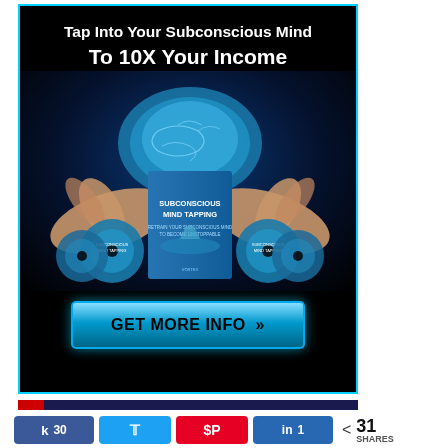[Figure (illustration): Advertisement banner with black background and cyan border. Text reads 'Tap Into Your Subconscious Mind To 10X Your Income'. Features a glowing blue brain held in hands with a product box labeled 'SUBCONSCIOUS MIND TAPPING' and CDs. Blue CTA button at bottom reads 'GET MORE INFO >>']
[Figure (infographic): Horizontal divider bar with red left accent and dark navy main body]
k 30
y (Twitter share button)
a (Pinterest share button)
in 1
< 31 SHARES